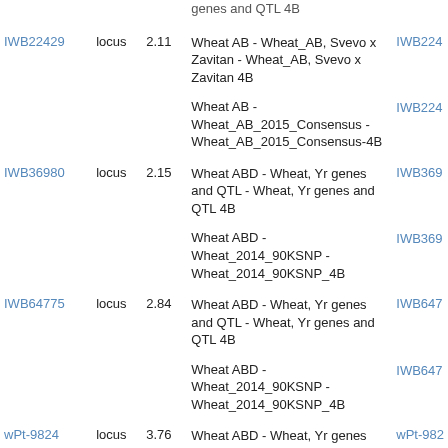| Marker | Type | Value | Map | Link |
| --- | --- | --- | --- | --- |
|  |  |  | genes and QTL 4B |  |
| IWB22429 | locus | 2.11 | Wheat AB - Wheat_AB, Svevo x Zavitan - Wheat_AB, Svevo x Zavitan 4B | IWB224 |
|  |  |  | Wheat AB - Wheat_AB_2015_Consensus - Wheat_AB_2015_Consensus-4B | IWB224 |
| IWB36980 | locus | 2.15 | Wheat ABD - Wheat, Yr genes and QTL - Wheat, Yr genes and QTL 4B | IWB369 |
|  |  |  | Wheat ABD - Wheat_2014_90KSNP - Wheat_2014_90KSNP_4B | IWB369 |
| IWB64775 | locus | 2.84 | Wheat ABD - Wheat, Yr genes and QTL - Wheat, Yr genes and QTL 4B | IWB647 |
|  |  |  | Wheat ABD - Wheat_2014_90KSNP - Wheat_2014_90KSNP_4B | IWB647 |
| wPt-9824 | locus | 3.76 | Wheat ABD - Wheat, Yr genes and QTL - Wheat, Yr genes and QTL 4B | wPt-982 |
|  |  |  | Wheat ABD - Wheat_2014_90KSNP - | IWB005 |